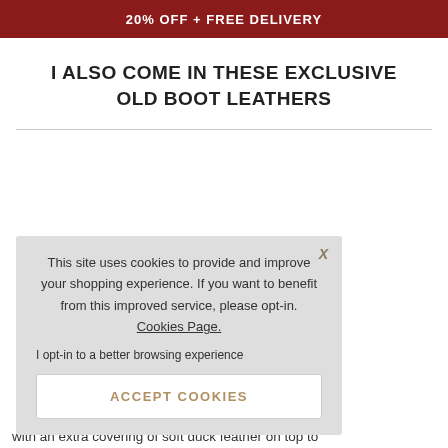20% OFF + FREE DELIVERY
I ALSO COME IN THESE EXCLUSIVE OLD BOOT LEATHERS
[Figure (screenshot): Cookie consent overlay popup with text about cookies, an opt-in link, and an Accept Cookies button]
hesterfield
n a beautifully d. I'm perfectly r way of a large n core cushions with an extra covering of soft duck feather on top to